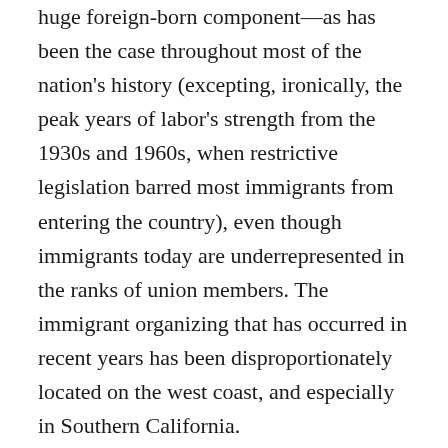huge foreign-born component—as has been the case throughout most of the nation's history (excepting, ironically, the peak years of labor's strength from the 1930s and 1960s, when restrictive legislation barred most immigrants from entering the country), even though immigrants today are underrepresented in the ranks of union members. The immigrant organizing that has occurred in recent years has been disproportionately located on the west coast, and especially in Southern California.
The California story